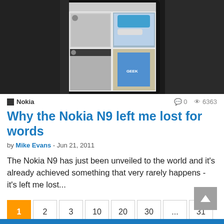[Figure (screenshot): Screenshot of Nokia N9 phone showing tiled social media/app interface on dark background]
Nokia  0  6363
Why the Nokia N9 left me lost for words
by Mike Evans - Jun 21, 2011
The Nokia N9 has just been unveiled to the world and it's already achieved something that very rarely happens - it's left me lost...
1  2  3  10  20  30  ...  31  Next ▶
Page 1 of 31